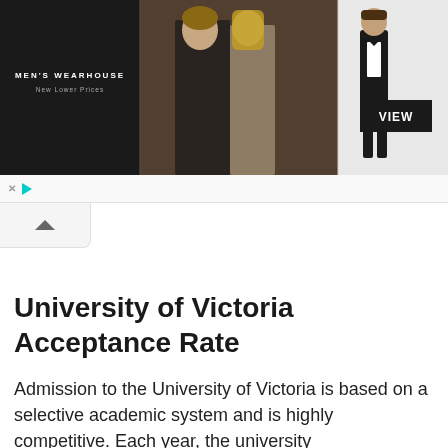[Figure (illustration): Men's Wearhouse advertisement banner showing a couple in formal attire (man in dark suit/tuxedo, woman in light dress), a man in black tuxedo on the right side, and a VIEW button. Brand tagline: New Lower Prices.]
University of Victoria Acceptance Rate
Admission to the University of Victoria is based on a selective academic system and is highly competitive. Each year, the university